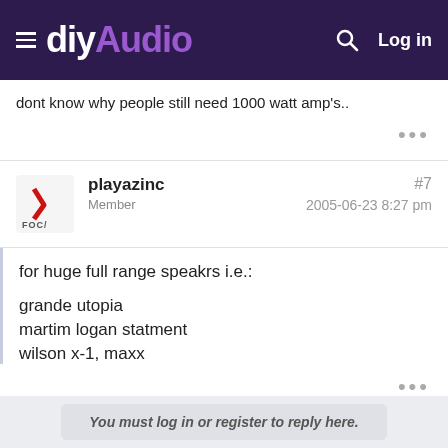diyAudio
dont know why people still need 1000 watt amp's..
playazinc
Member
#7
2005-06-23 8:27 pm
for huge full range speakrs i.e.:

grande utopia
martim logan statment
wilson x-1, maxx
You must log in or register to reply here.